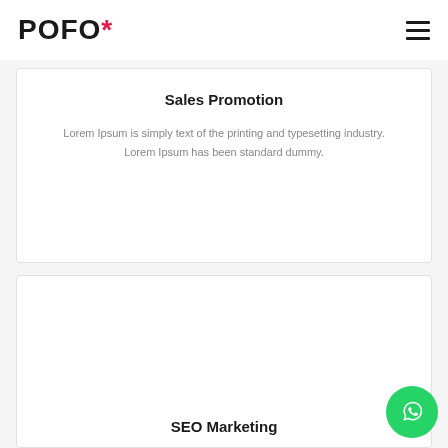POFO*
Sales Promotion
Lorem Ipsum is simply text of the printing and typesetting industry. Lorem Ipsum has been standard dummy.
SEO Marketing